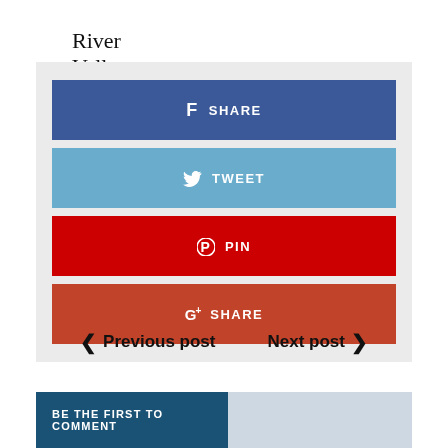River Valley
[Figure (infographic): Social share buttons: Facebook SHARE (dark blue), Twitter TWEET (light blue), Pinterest PIN (red), Google+ SHARE (brick red)]
< Previous post   Next post >
BE THE FIRST TO COMMENT